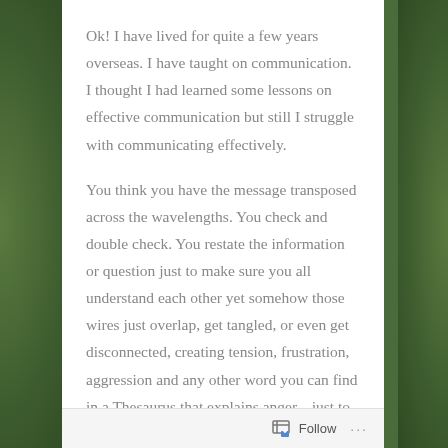Ok! I have lived for quite a few years overseas. I have taught on communication. I thought I had learned some lessons on effective communication but still I struggle with communicating effectively.
You think you have the message transposed across the wavelengths. You check and double check. You restate the information or question just to make sure you all understand each other yet somehow those wires just overlap, get tangled, or even get disconnected, creating tension, frustration, aggression and any other word you can find in a Thesaurus that explains anger....just to be sure I have communicated that effectively!
It's not that you get angry really, you just want to tear your
Follow ···